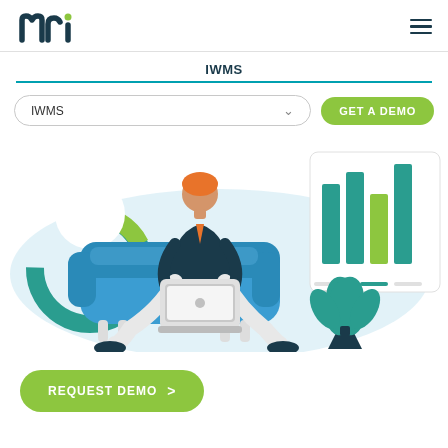[Figure (logo): MRI logo in teal/green lettering]
IWMS
IWMS (dropdown selector)
GET A DEMO (button)
[Figure (illustration): Person sitting on a blue couch working on a laptop with charts, a plant, and data graphics in the background]
REQUEST DEMO > (button)